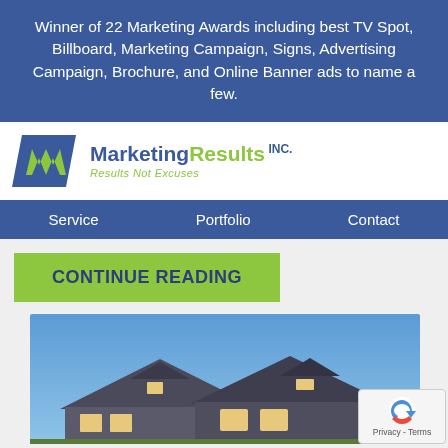Winner of 22 Marketing Awards including best TV Spot, Billboard, Marketing Campaign, Signs, Advertising Campaign, Brochure, and Online Banner ads to name a few.
[Figure (logo): Marketing Results INC. logo with blue parallelogram icon and green/blue text. Tagline: Results Not Excuses]
Service   Portfolio   Contact
CONTINUE READING
[Figure (photo): Photo of a house exterior at dusk with blue sky background, with a Privacy - Terms reCAPTCHA badge overlay in bottom right corner]